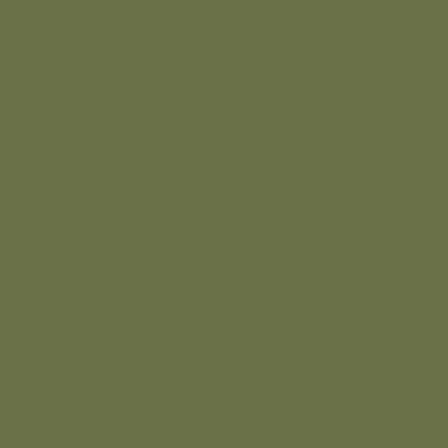one for Hin film tag me wit the "mi nar tag I wa rud and did res rig aw be I wa ove